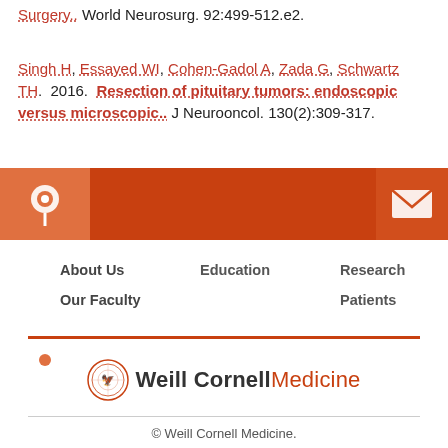Surgery.. World Neurosurg. 92:499-512.e2.
Singh H, Essayed WI, Cohen-Gadol A, Zada G, Schwartz TH. 2016. Resection of pituitary tumors: endoscopic versus microscopic.. J Neurooncol. 130(2):309-317.
[Figure (other): Orange navigation banner with location pin icon on left, darker orange center panel, and email envelope icon on right]
About Us
Education
Research
Our Faculty
Patients
[Figure (logo): Weill Cornell Medicine logo with circular seal and text]
© Weill Cornell Medicine.